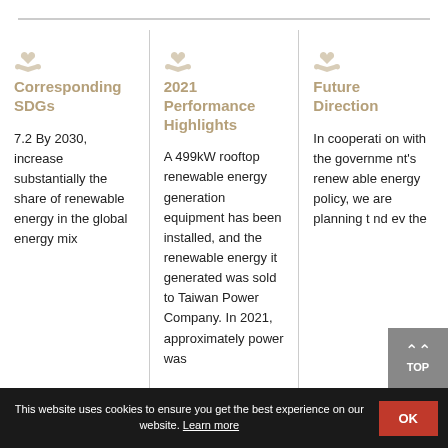Corresponding SDGs
7.2 By 2030, increase substantially the share of renewable energy in the global energy mix
2021 Performance Highlights
A 499kW rooftop renewable energy generation equipment has been installed, and the renewable energy it generated was sold to Taiwan Power Company. In 2021, approximately power was
Future Direction
In cooperation with the government's renewable energy policy, we are planning to nd ev the
This website uses cookies to ensure you get the best experience on our website. Learn more